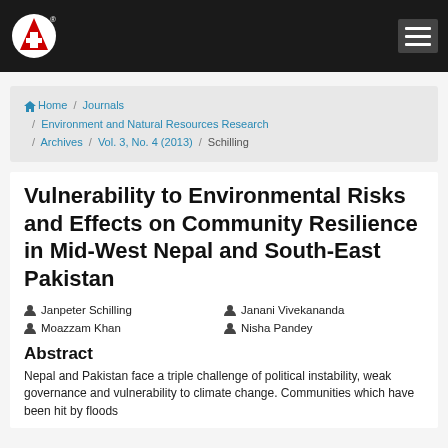Logo and navigation bar
Home / Journals / Environment and Natural Resources Research / Archives / Vol. 3, No. 4 (2013) / Schilling
Vulnerability to Environmental Risks and Effects on Community Resilience in Mid-West Nepal and South-East Pakistan
Janpeter Schilling  Janani Vivekananda  Moazzam Khan  Nisha Pandey
Abstract
Nepal and Pakistan face a triple challenge of political instability, weak governance and vulnerability to climate change. Communities which have been hit by floods